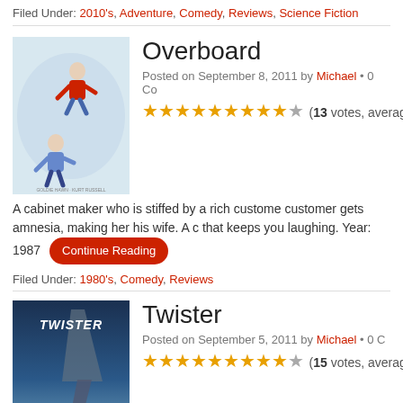Filed Under: 2010's, Adventure, Comedy, Reviews, Science Fiction
[Figure (photo): Movie poster for Overboard showing two people falling/floating against light background]
Overboard
Posted on September 8, 2011 by Michael • 0 Co
★★★★★★★★★☆ (13 votes, average: 8
A cabinet maker who is stiffed by a rich customer gets amnesia, making her his wife. A that keeps you laughing. Year: 1987
Filed Under: 1980's, Comedy, Reviews
[Figure (photo): Movie poster for Twister showing tornado and people running]
Twister
Posted on September 5, 2011 by Michael • 0 C
★★★★★★★★★☆ (15 votes, average: 8
A group of scientists and adventurers chase to full of tornadoes ripping through towns and field